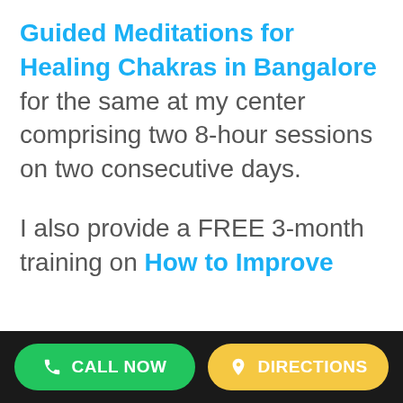Guided Meditations for Healing Chakras in Bangalore for the same at my center comprising two 8-hour sessions on two consecutive days.

I also provide a FREE 3-month training on How to Improve
CALL NOW   DIRECTIONS